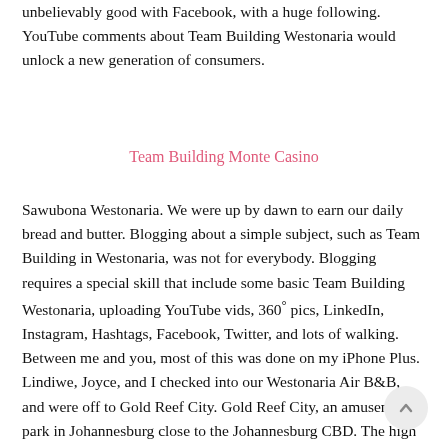unbelievably good with Facebook, with a huge following. YouTube comments about Team Building Westonaria would unlock a new generation of consumers.
Team Building Monte Casino
Sawubona Westonaria. We were up by dawn to earn our daily bread and butter. Blogging about a simple subject, such as Team Building in Westonaria, was not for everybody. Blogging requires a special skill that include some basic Team Building Westonaria, uploading YouTube vids, 360° pics, LinkedIn, Instagram, Hashtags, Facebook, Twitter, and lots of walking. Between me and you, most of this was done on my iPhone Plus. Lindiwe, Joyce, and I checked into our Westonaria Air B&B, and were off to Gold Reef City. Gold Reef City, an amusement park in Johannesburg close to the Johannesburg CBD. The high Flying Maverick Thrill Ride is the new addition to the thrill rides at Gold Reef City. Other Trill Rides at Gold Reef City